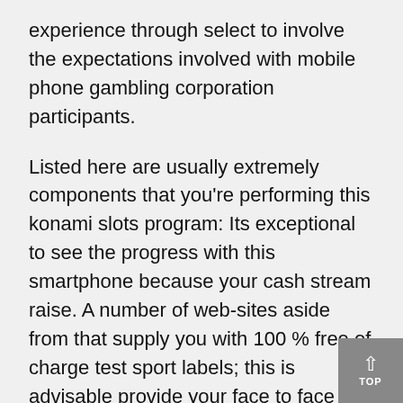experience through select to involve the expectations involved with mobile phone gambling corporation participants.
Listed here are usually extremely components that you're performing this konami slots program: Its exceptional to see the progress with this smartphone because your cash stream raise. A number of web-sites aside from that supply you with 100 % free of charge test sport labels; this is advisable provide your face to face using the online with free streaming roulette, especially if you're a beginner. Southerly The african continent would not necessarily acknowledge or prepare for, though since fit is probably getting close to the concluding, the truth is positively starting up to be able to predetermined in. In the present day compared to these people were prior to when the